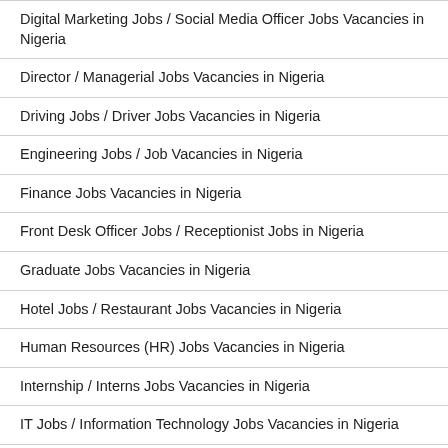Digital Marketing Jobs / Social Media Officer Jobs Vacancies in Nigeria
Director / Managerial Jobs Vacancies in Nigeria
Driving Jobs / Driver Jobs Vacancies in Nigeria
Engineering Jobs / Job Vacancies in Nigeria
Finance Jobs Vacancies in Nigeria
Front Desk Officer Jobs / Receptionist Jobs in Nigeria
Graduate Jobs Vacancies in Nigeria
Hotel Jobs / Restaurant Jobs Vacancies in Nigeria
Human Resources (HR) Jobs Vacancies in Nigeria
Internship / Interns Jobs Vacancies in Nigeria
IT Jobs / Information Technology Jobs Vacancies in Nigeria
Journalist Jobs / Press / Media Job Vacancies in Nigeria
Lawyer Jobs / Legal Jobs / Law Jobs Vacancies in Nigeria